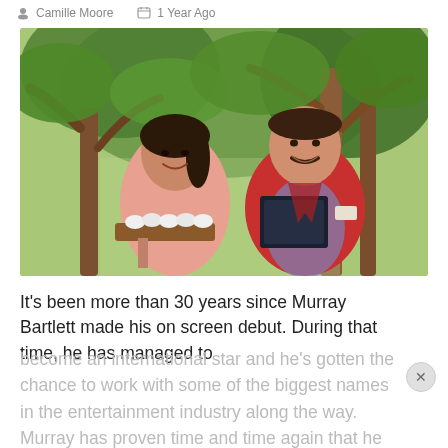Camille Moore   1 Year Ago
[Figure (photo): Two people standing outdoors under trees. A woman on the left wearing a pink/coral top, holding a wooden tray with rolled white towels. A man on the right wearing a red/coral blazer holding a dark tablet/folder, with a mustache, smiling.]
It's been more than 30 years since Murray Bartlett made his on screen debut. During that time, he has managed to become an international star and he's gotten the chance to work with some of the biggest names in the entertainment industry along the way. Murray has proven time and time again that he has what it takes to...